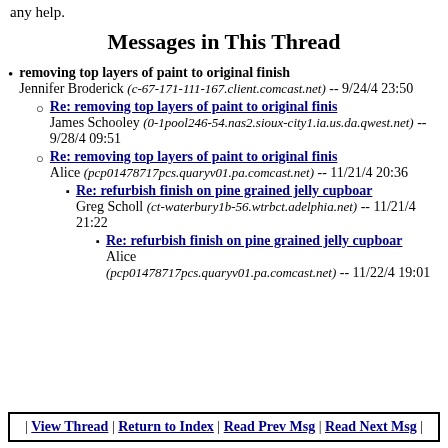any help.
Messages in This Thread
removing top layers of paint to original finish
Jennifer Broderick (c-67-171-111-167.client.comcast.net) -- 9/24/4 23:50
Re: removing top layers of paint to original finis
James Schooley (0-1pool246-54.nas2.sioux-city1.ia.us.da.qwest.net) -- 9/28/4 09:51
Re: removing top layers of paint to original finis
Alice (pcp01478717pcs.quaryv01.pa.comcast.net) -- 11/21/4 20:36
Re: refurbish finish on pine grained jelly cupboar
Greg Scholl (ct-waterbury1b-56.wtrbct.adelphia.net) -- 11/21/4 21:22
Re: refurbish finish on pine grained jelly cupboar
Alice (pcp01478717pcs.quaryv01.pa.comcast.net) -- 11/22/4 19:01
| View Thread | Return to Index | Read Prev Msg | Read Next Msg |